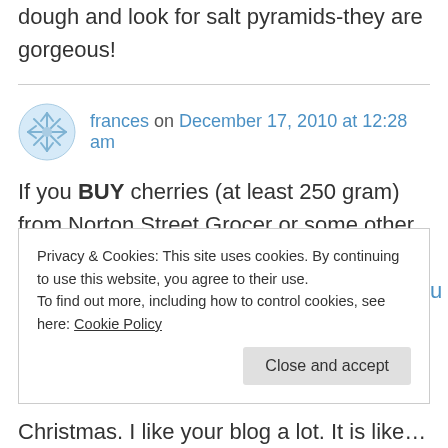dough and look for salt pyramids-they are gorgeous!
frances on December 17, 2010 at 12:28 am
If you BUY cherries (at least 250 gram) from Norton Street Grocer or some other outlets you can go to http://www.lovesummerlovecherries.com.au and enter to win $1000 or $100 gift cards. You need
Privacy & Cookies: This site uses cookies. By continuing to use this website, you agree to their use.
To find out more, including how to control cookies, see here: Cookie Policy
Close and accept
Christmas. I like your blog a lot. It is like virtual